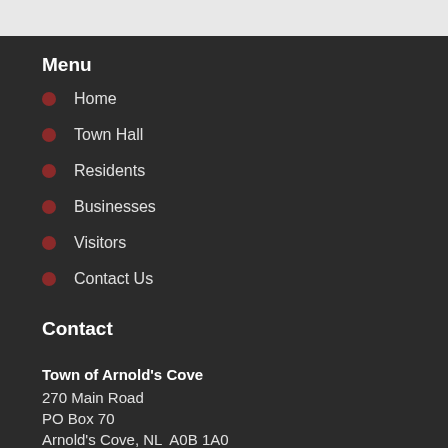Menu
Home
Town Hall
Residents
Businesses
Visitors
Contact Us
Contact
Town of Arnold's Cove
270 Main Road
PO Box 70
Arnold's Cove, NL  A0B 1A0